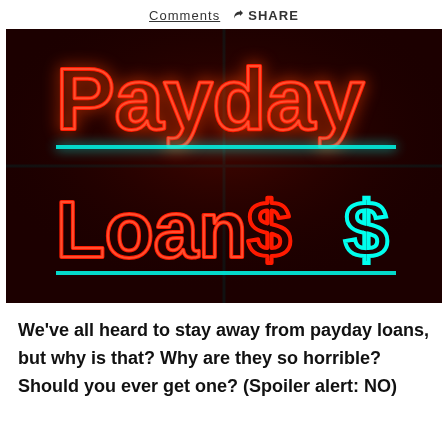Comments  SHARE
[Figure (photo): Neon sign reading 'Payday Loans $' with red neon lettering and cyan/teal neon underlines on a dark background]
We've all heard to stay away from payday loans, but why is that? Why are they so horrible? Should you ever get one? (Spoiler alert: NO)